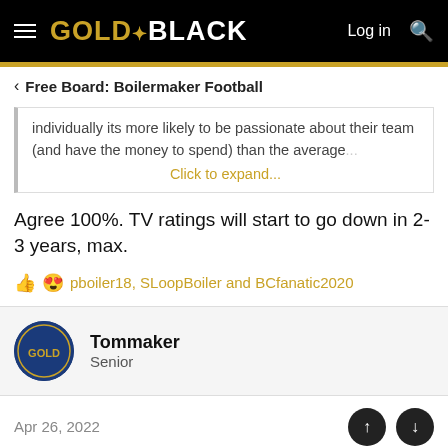GOLD & BLACK — Log in
Free Board: Boilermaker Football
individually its more likely to be passionate about their team (and have the money to spend) than the average
Click to expand...
Agree 100%. TV ratings will start to go down in 2-3 years, max.
pboiler18, SLoopBoiler and BCfanatic2020
Tommaker
Senior
Apr 26, 2022